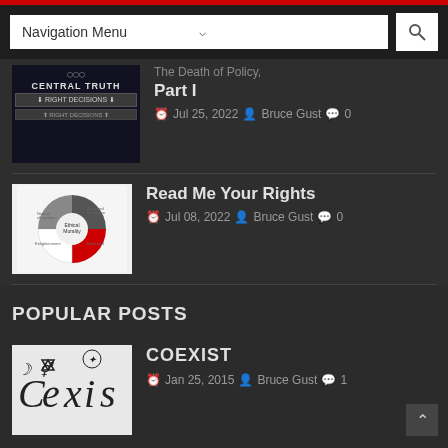Navigation Menu
The Death of Policy, Part I — Jul 25, 2022 — Bruce Gust — 0 comments
Read Me Your Rights — Jul 08, 2022 — Bruce Gust — 0 comments
POPULAR POSTS
COEXIST — Jan 25, 2015 — Bruce Gust — 1 comment